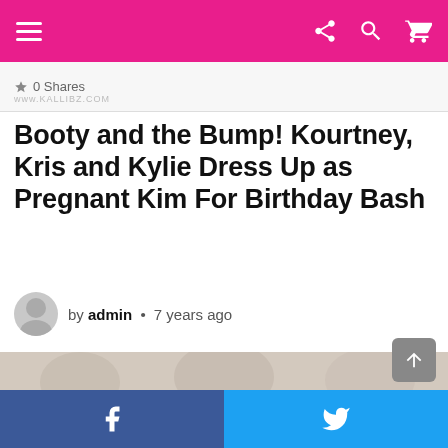Navigation bar with menu icon and share/search/cart icons
0 Shares
Booty and the Bump! Kourtney, Kris and Kylie Dress Up as Pregnant Kim For Birthday Bash
by admin • 7 years ago
[Figure (photo): Faded photo of women dressed up, partially visible]
Facebook and Twitter share buttons